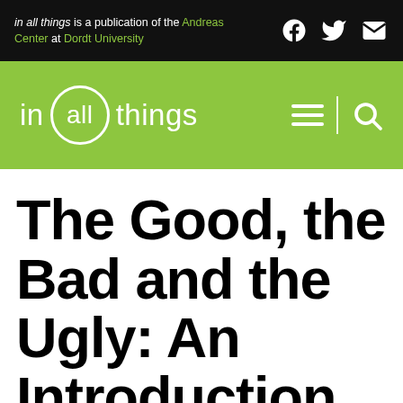in all things is a publication of the Andreas Center at Dordt University
[Figure (logo): in all things logo with circle around 'all' on green background, with hamburger menu and search icons]
The Good, the Bad and the Ugly: An Introduction to the